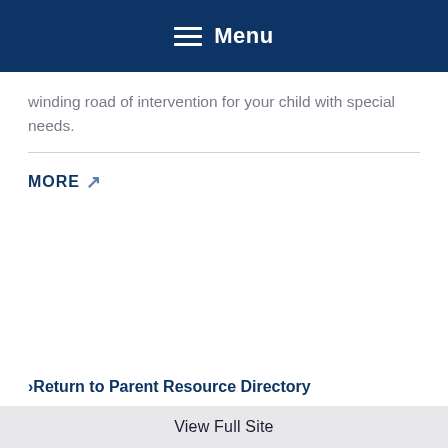Menu
winding road of intervention for your child with special needs.
MORE ↗
›Return to Parent Resource Directory
View Full Site